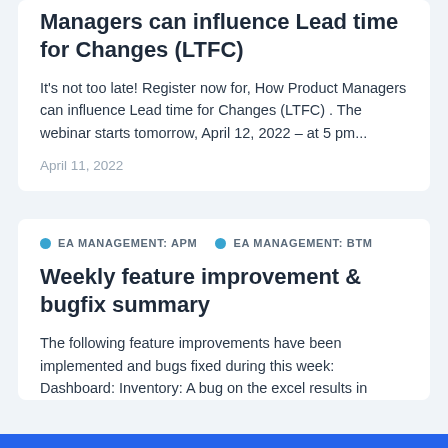Managers can influence Lead time for Changes (LTFC)
It's not too late! Register now for, How Product Managers can influence Lead time for Changes (LTFC) . The webinar starts tomorrow, April 12, 2022 – at 5 pm...
April 11, 2022
EA MANAGEMENT: APM   EA MANAGEMENT: BTM
Weekly feature improvement & bugfix summary
The following feature improvements have been implemented and bugs fixed during this week: Dashboard: Inventory: A bug on the excel results in